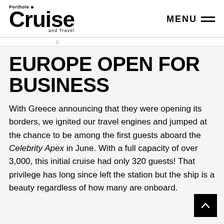Porthole Cruise and Travel — MENU
EUROPE OPEN FOR BUSINESS
With Greece announcing that they were opening its borders, we ignited our travel engines and jumped at the chance to be among the first guests aboard the Celebrity Apex in June. With a full capacity of over 3,000, this initial cruise had only 320 guests! That privilege has long since left the station but the ship is a beauty regardless of how many are onboard.